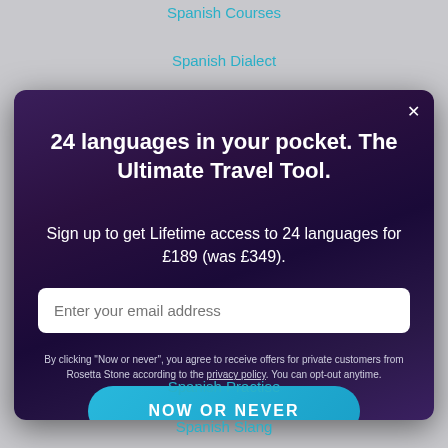Spanish Courses
Spanish Dialect
[Figure (screenshot): Modal popup with dark purple gradient background. Contains a title '24 languages in your pocket. The Ultimate Travel Tool.', subtitle 'Sign up to get Lifetime access to 24 languages for £189 (was £349).', an email input field, privacy disclaimer text, and a cyan 'NOW OR NEVER' button.]
Spanish Practise
Spanish Slang